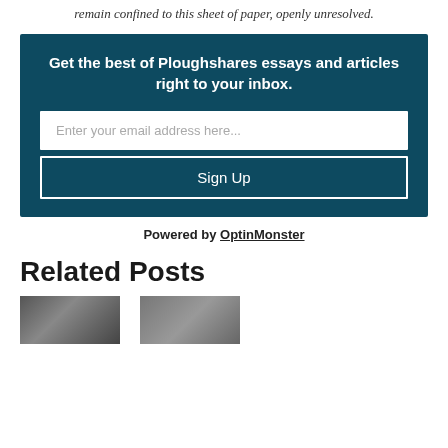remain confined to this sheet of paper, openly unresolved.
[Figure (other): Newsletter signup box with teal/dark blue background containing headline 'Get the best of Ploughshares essays and articles right to your inbox.', an email input field, and a Sign Up button]
Powered by OptinMonster
Related Posts
[Figure (photo): Black and white photo thumbnail on the left]
[Figure (photo): Black and white photo thumbnail on the right]